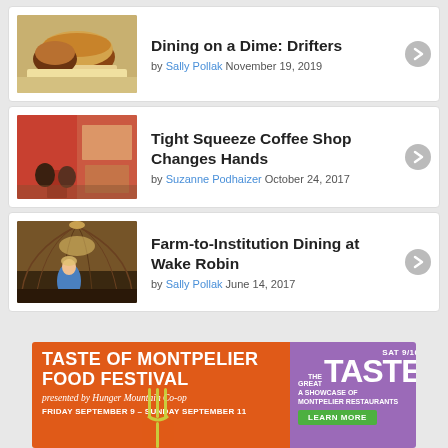[Figure (photo): Photo of two burgers/sandwiches on a plate]
Dining on a Dime: Drifters
by Sally Pollak November 19, 2019
[Figure (photo): Photo of two people standing in a coffee shop interior with red walls]
Tight Squeeze Coffee Shop Changes Hands
by Suzanne Podhaizer October 24, 2017
[Figure (photo): Photo of a person standing inside a building with a large domed wooden ceiling]
Farm-to-Institution Dining at Wake Robin
by Sally Pollak June 14, 2017
[Figure (infographic): Advertisement banner for Taste of Montpelier Food Festival presented by Hunger Mountain Co-op, Friday September 9 - Sunday September 11, SAT 9/10 The Great TASTE A Showcase of Montpelier Restaurants, Learn More]